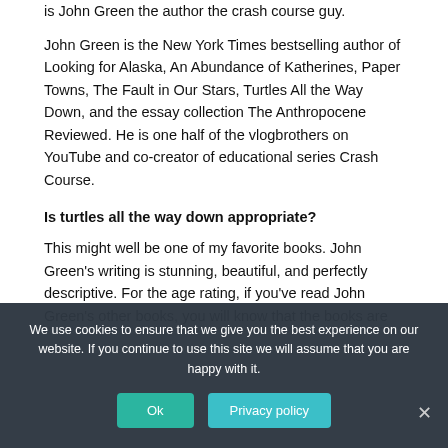is John Green the author the crash course guy.
John Green is the New York Times bestselling author of Looking for Alaska, An Abundance of Katherines, Paper Towns, The Fault in Our Stars, Turtles All the Way Down, and the essay collection The Anthropocene Reviewed. He is one half of the vlogbrothers on YouTube and co-creator of educational series Crash Course.
Is turtles all the way down appropriate?
This might well be one of my favorite books. John Green's writing is stunning, beautiful, and perfectly descriptive. For the age rating, if you've read John Green's other books, you will know that the books are
We use cookies to ensure that we give you the best experience on our website. If you continue to use this site we will assume that you are happy with it.